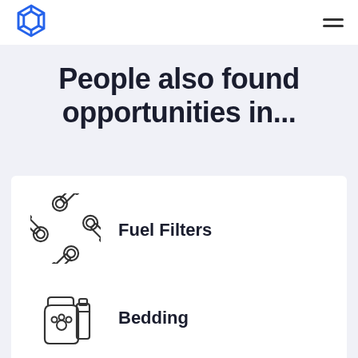[Figure (logo): Blue geometric diamond/hexagon shaped logo icon]
[Figure (other): Hamburger menu icon (three horizontal lines)]
People also found opportunities in...
[Figure (illustration): Crossed pistons / engine parts icon representing Fuel Filters category]
Fuel Filters
[Figure (illustration): Pet food bag and container icon representing Bedding category]
Bedding